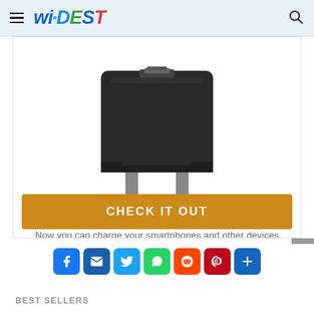WIDEST
[Figure (photo): Black Chargerito compact phone charger/adapter with USB connector and folding plug prongs, shown from an angle on white background]
Now you can charge your smartphones and other devices anywhere without cords with the Chargerito charger. When you travel, the 3 things that you want to have with you at all times are your ...
CHECK IT OUT
[Figure (infographic): Social sharing icons row: Facebook, Email, Twitter, WhatsApp, Reddit, Pinterest, and a blue plus/more button]
BEST SELLERS